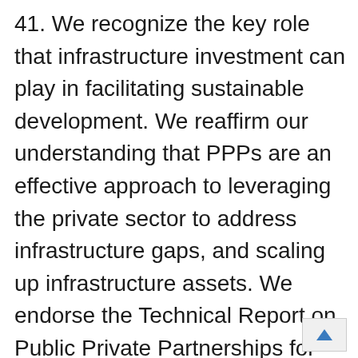41. We recognize the key role that infrastructure investment can play in facilitating sustainable development. We reaffirm our understanding that PPPs are an effective approach to leveraging the private sector to address infrastructure gaps, and scaling up infrastructure assets. We endorse the Technical Report on Public Private Partnerships for Sustainable Development. We welcome the exchange and sharing of good practices and experiences, and encourage further cooperation on infrastructure investment and PPPs. We look forward to resuming technical engagements with the N and the BRICS Task Force on PPP and